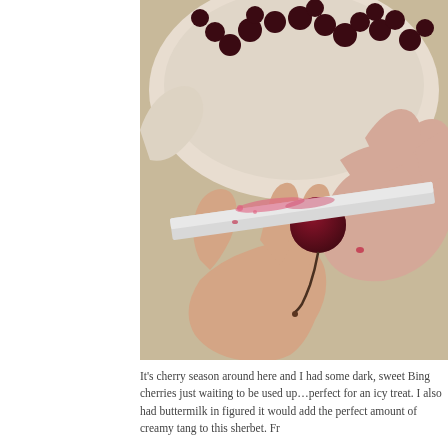[Figure (photo): Close-up photo of hands holding a dark red cherry against a knife blade stained with cherry juice, with a white bowl of cherries visible in the background.]
It's cherry season around here and I had some dark, sweet Bing cherries just waiting to be used up…perfect for an icy treat. I also had buttermilk in figured it would add the perfect amount of creamy tang to this sherbet. Fr